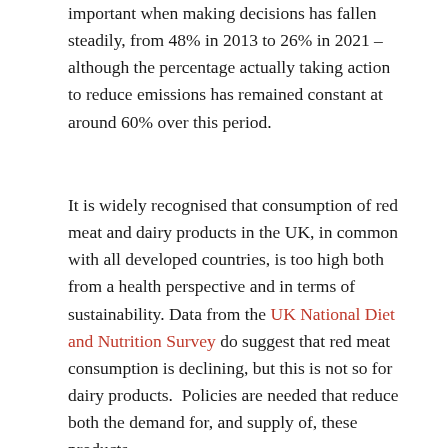important when making decisions has fallen steadily, from 48% in 2013 to 26% in 2021 – although the percentage actually taking action to reduce emissions has remained constant at around 60% over this period.
It is widely recognised that consumption of red meat and dairy products in the UK, in common with all developed countries, is too high both from a health perspective and in terms of sustainability. Data from the UK National Diet and Nutrition Survey do suggest that red meat consumption is declining, but this is not so for dairy products. Policies are needed that reduce both the demand for, and supply of, these products.